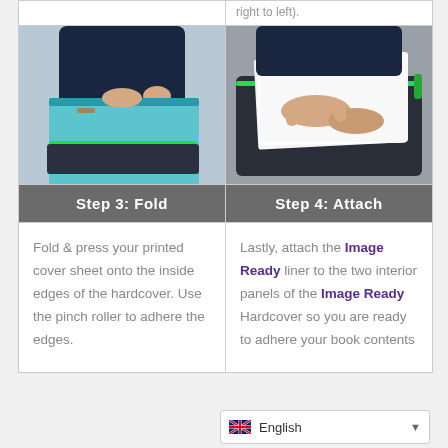right to left).
[Figure (photo): Person folding a printed cover sheet onto a hardcover device with green LED edge]
[Figure (photo): Person placing paper sheets onto an Image Ready Hardcover device]
Step 3: Fold
Step 4: Attach
Fold & press your printed cover sheet onto the inside edges of the hardcover. Use the pinch roller to adhere the edges.
Lastly, attach the Image Ready liner to the two interior panels of the Image Ready Hardcover so you are ready to adhere your book contents
English